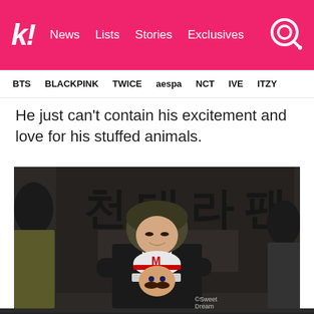k! News Lists Stories Exclusives
BTS BLACKPINK TWICE aespa NCT IVE ITZY
He just can't contain his excitement and love for his stuffed animals.
[Figure (photo): A young man in a black suit hugging a Mario stuffed animal plush toy at what appears to be a fan signing event. Korean characters visible on a dark banner in the background. Watermark reads SweetDream.]